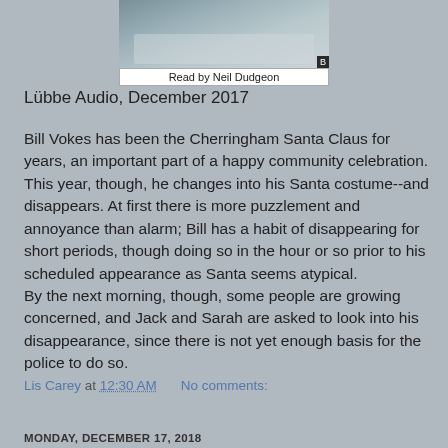[Figure (photo): Book cover image showing a snowy street scene, Read by Neil Dudgeon]
Read by Neil Dudgeon
Lübbe Audio, December 2017
Bill Vokes has been the Cherringham Santa Claus for years, an important part of a happy community celebration. This year, though, he changes into his Santa costume--and disappears. At first there is more puzzlement and annoyance than alarm; Bill has a habit of disappearing for short periods, though doing so in the hour or so prior to his scheduled appearance as Santa seems atypical.
By the next morning, though, some people are growing concerned, and Jack and Sarah are asked to look into his disappearance, since there is not yet enough basis for the police to do so.
Lis Carey at 12:30 AM    No comments:
Share
MONDAY, DECEMBER 17, 2018